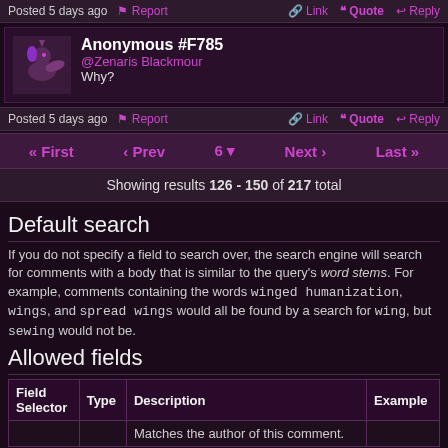Posted 5 days ago   Report   Link   Quote   Reply
Anonymous #F785
@Zenaris Blackmour
Why?
Posted 5 days ago   Report   Link   Quote   Reply
« First   ‹ Prev   6   Next ›   Last »
Showing results 126 - 150 of 217 total
Default search
If you do not specify a field to search over, the search engine will search for comments with a body that is similar to the query's word stems. For example, comments containing the words winged humanization, wings, and spread wings would all be found by a search for wing, but sewing would not be.
Allowed fields
| Field Selector | Type | Description | Example |
| --- | --- | --- | --- |
|  |  | Matches the author of this comment. |  |